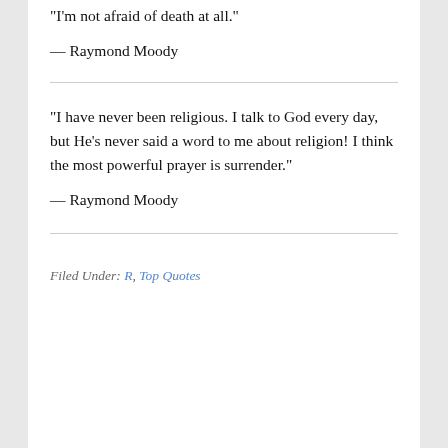“I’m not afraid of death at all.”
— Raymond Moody
“I have never been religious. I talk to God every day, but He’s never said a word to me about religion! I think the most powerful prayer is surrender.”
— Raymond Moody
Filed Under: R, Top Quotes